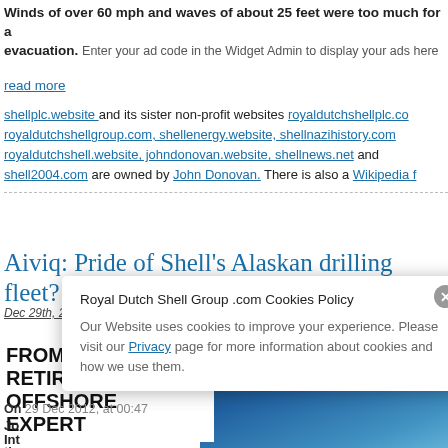Winds of over 60 mph and waves of about 25 feet were too much for a evacuation.
read more
Enter your ad code in the Widget Admin to display your ads here
shellplc.website and its sister non-profit websites royaldutchshellplc.com royaldutchshellgroup.com, shellenergy.website, shellnazihistory.com royaldutchshell.website, johndonovan.website, shellnews.net and shell2004.com are owned by John Donovan. There is also a Wikipedia f
Aiviq: Pride of Shell's Alaskan drilling fleet?
Dec 29th, 2012 by John Donovan. Comments are off for this post
FROM A RETIRED SHELL OFFSHORE EXPERT
[Figure (photo): Blue gradient background image, dark navy to lighter blue]
On 29 Dec 2012, at 00:47
Jo
Int
the
Royal Dutch Shell Group .com Cookies Policy
Our Website uses cookies to improve your experience. Please visit our Privacy page for more information about cookies and how we use them.